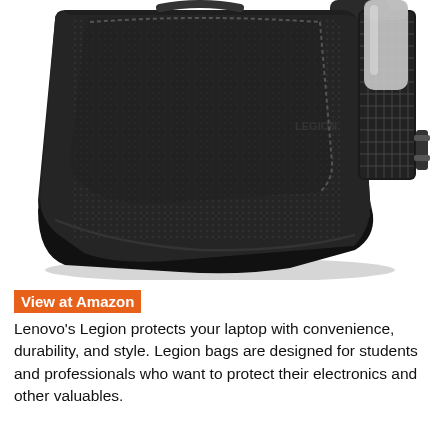[Figure (photo): Close-up photo of a black Lenovo Legion backpack showing the front and side panels. The backpack has a textured nylon fabric on the front, smooth rubberized bottom edge, and a mesh side pocket holding a water bottle on the right side. The background is white.]
View at Amazon
Lenovo's Legion protects your laptop with convenience, durability, and style. Legion bags are designed for students and professionals who want to protect their electronics and other valuables.